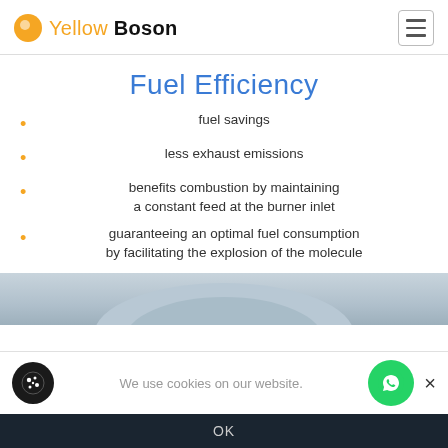Yellow Boson
Fuel Efficiency
fuel savings
less exhaust emissions
benefits combustion by maintaining a constant feed at the burner inlet
guaranteeing an optimal fuel consumption by facilitating the explosion of the molecule
[Figure (photo): Partial view of industrial equipment or machinery, showing a metallic/grey curved surface]
We use cookies on our website.
OK